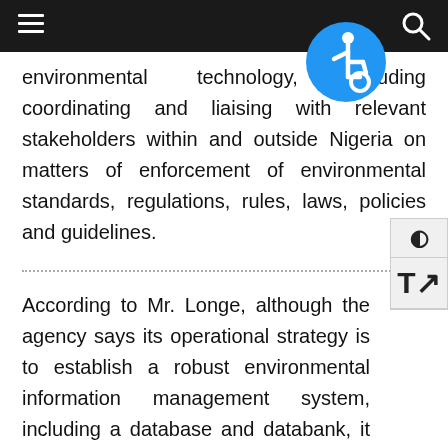navigation bar with hamburger menu and search icon
environmental technology, including coordinating and liaising with relevant stakeholders within and outside Nigeria on matters of enforcement of environmental standards, regulations, rules, laws, policies and guidelines.
According to Mr. Longe, although the agency says its operational strategy is to establish a robust environmental information management system, including a database and databank, it has failed to disclose the categories of information that the FOI Act requires it to publish proactively, including information about its businesses, activities and operations.